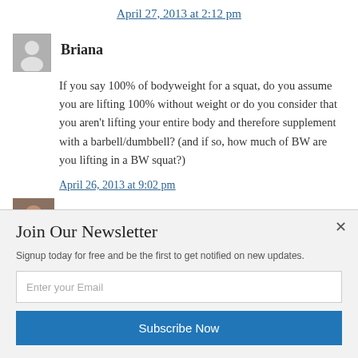April 27, 2013 at 2:12 pm
Briana
If you say 100% of bodyweight for a squat, do you assume you are lifting 100% without weight or do you consider that you aren't lifting your entire body and therefore supplement with a barbell/dumbbell? (and if so, how much of BW are you lifting in a BW squat?)
April 26, 2013 at 9:02 pm
John Ro...
That's a good question. I mean, 100% of your body...
Join Our Newsletter
Signup today for free and be the first to get notified on new updates.
Enter your Email
Subscribe Now